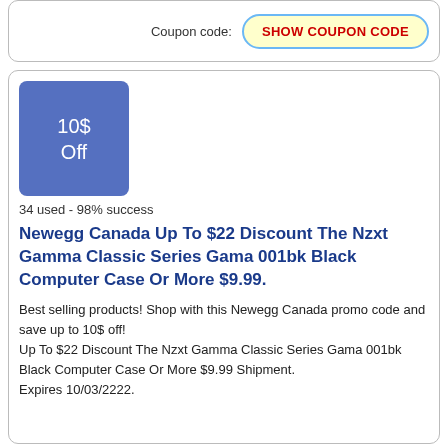Coupon code: SHOW COUPON CODE
[Figure (other): Blue square badge showing '10$ Off' discount label]
34 used - 98% success
Newegg Canada Up To $22 Discount The Nzxt Gamma Classic Series Gama 001bk Black Computer Case Or More $9.99.
Best selling products! Shop with this Newegg Canada promo code and save up to 10$ off!
Up To $22 Discount The Nzxt Gamma Classic Series Gama 001bk Black Computer Case Or More $9.99 Shipment.
Expires 10/03/2222.